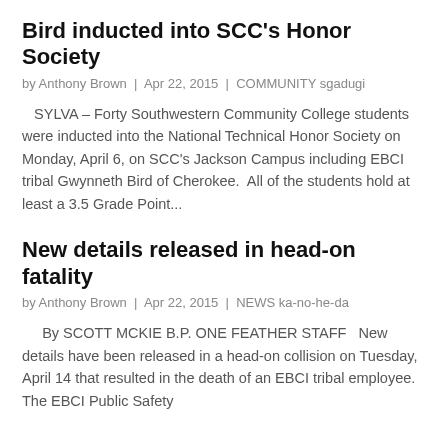Bird inducted into SCC's Honor Society
by Anthony Brown | Apr 22, 2015 | COMMUNITY sgadugi
SYLVA – Forty Southwestern Community College students were inducted into the National Technical Honor Society on Monday, April 6, on SCC's Jackson Campus including EBCI tribal Gwynneth Bird of Cherokee.  All of the students hold at least a 3.5 Grade Point...
New details released in head-on fatality
by Anthony Brown | Apr 22, 2015 | NEWS ka-no-he-da
By SCOTT MCKIE B.P. ONE FEATHER STAFF   New details have been released in a head-on collision on Tuesday, April 14 that resulted in the death of an EBCI tribal employee.  The EBCI Public Safety